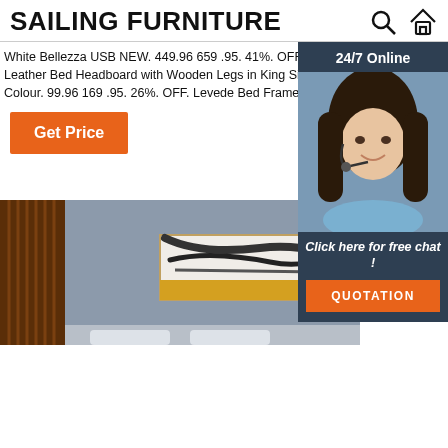SAILING FURNITURE
White Bellezza USB NEW. 449.96 659 .95. 41%. OFF. Levede PO Leather Bed Headboard with Wooden Legs in King Size in Cream Colour. 99.96 169 .95. 26%. OFF. Levede Bed Frame G
[Figure (screenshot): Chat widget with 24/7 Online label, female agent with headset, 'Click here for free chat!' text, and QUOTATION button]
[Figure (photo): Bedroom interior with wooden slat wall panel and abstract wall art painting in grey, black, white and yellow]
Get Price
Click here for free chat !
QUOTATION
24/7 Online